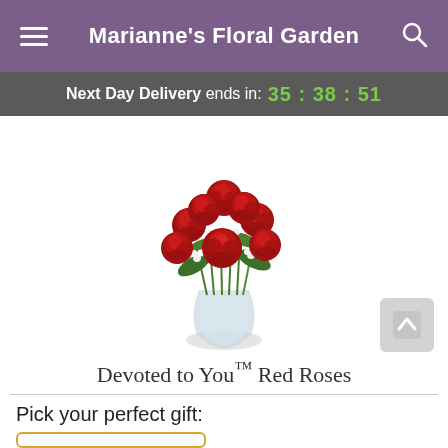Marianne's Floral Garden
Next Day Delivery ends in: 35:38:51
[Figure (photo): A bouquet of red roses with white baby's breath in a clear glass vase]
Devoted to You™ Red Roses
Pick your perfect gift: